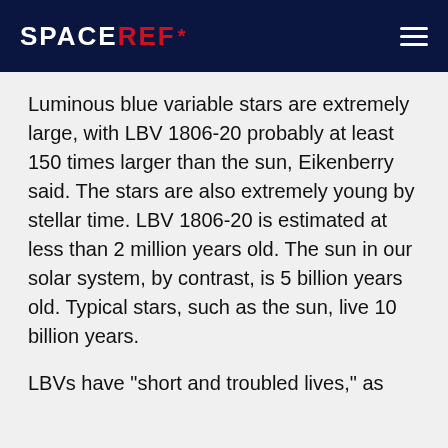SPACEREF*
Luminous blue variable stars are extremely large, with LBV 1806-20 probably at least 150 times larger than the sun, Eikenberry said. The stars are also extremely young by stellar time. LBV 1806-20 is estimated at less than 2 million years old. The sun in our solar system, by contrast, is 5 billion years old. Typical stars, such as the sun, live 10 billion years.
LBVs have "short and troubled lives," as